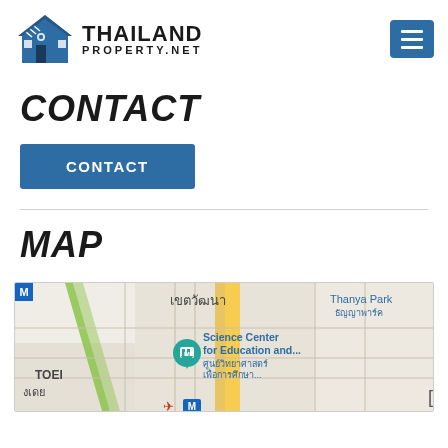THAILAND PROPERTY.NET
CONTACT
CONTACT
MAP
[Figure (map): Google Maps showing area around Science Center for Education in Bangkok, Thailand. Visible labels include: เขตวัฒนา, Science Center for Education and..., ศูนย์วิทยาศาสตร์เพื่อการศึกษา..., Thanya Park ธัญญาพาร์ค, TOEI, งเดย. Map shows roads, a metro (M) station marker, and a location pin.]